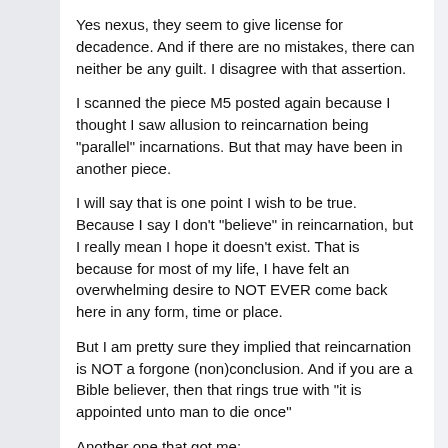Yes nexus, they seem to give license for decadence. And if there are no mistakes, there can neither be any guilt. I disagree with that assertion.
I scanned the piece M5 posted again because I thought I saw allusion to reincarnation being "parallel" incarnations. But that may have been in another piece.
I will say that is one point I wish to be true. Because I say I don't "believe" in reincarnation, but I really mean I hope it doesn't exist. That is because for most of my life, I have felt an overwhelming desire to NOT EVER come back here in any form, time or place.
But I am pretty sure they implied that reincarnation is NOT a forgone (non)conclusion. And if you are a Bible believer, then that rings true with "it is appointed unto man to die once"
Another one that got me: